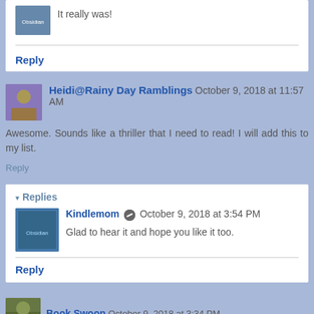It really was!
Reply
Heidi@Rainy Day Ramblings October 9, 2018 at 11:57 AM
Awesome. Sounds like a thriller that I need to read! I will add this to my list.
Reply
Replies
Kindlemom October 9, 2018 at 3:54 PM
Glad to hear it and hope you like it too.
Reply
Book Swoon October 9, 2018 at 3:34 PM